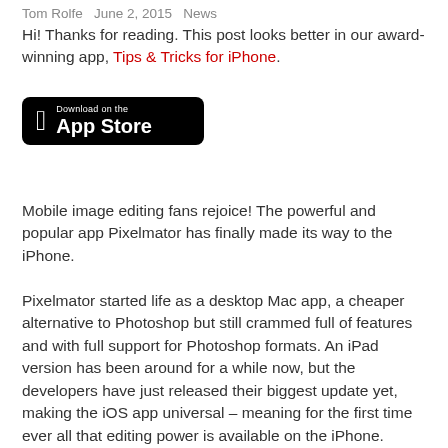Tom Rolfe  June 2, 2015  News
Hi! Thanks for reading. This post looks better in our award-winning app, Tips & Tricks for iPhone.
[Figure (other): Download on the App Store button (black rounded rectangle with Apple logo)]
Mobile image editing fans rejoice! The powerful and popular app Pixelmator has finally made its way to the iPhone.
Pixelmator started life as a desktop Mac app, a cheaper alternative to Photoshop but still crammed full of features and with full support for Photoshop formats. An iPad version has been around for a while now, but the developers have just released their biggest update yet, making the iOS app universal – meaning for the first time ever all that editing power is available on the iPhone.